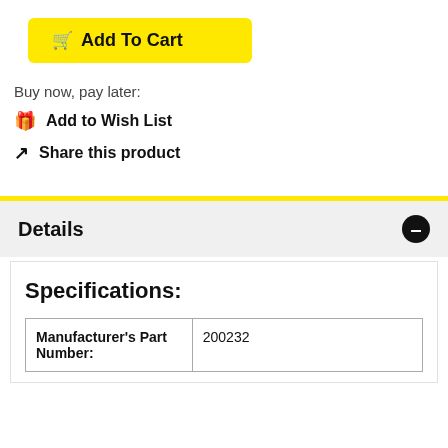[Figure (other): Yellow 'Add To Cart' button with shopping cart icon]
Buy now, pay later:
🎁 Add to Wish List
↗ Share this product
Details
Specifications:
| Manufacturer's Part Number: |  |
| --- | --- |
| Manufacturer's Part Number: | 200232 |